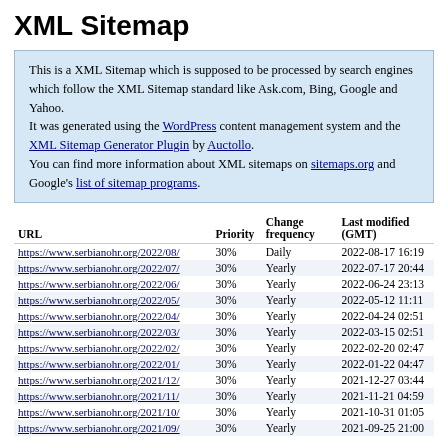XML Sitemap
This is a XML Sitemap which is supposed to be processed by search engines which follow the XML Sitemap standard like Ask.com, Bing, Google and Yahoo. It was generated using the WordPress content management system and the XML Sitemap Generator Plugin by Auctollo. You can find more information about XML sitemaps on sitemaps.org and Google's list of sitemap programs.
| URL | Priority | Change frequency | Last modified (GMT) |
| --- | --- | --- | --- |
| https://www.serbianohr.org/2022/08/ | 30% | Daily | 2022-08-17 16:19 |
| https://www.serbianohr.org/2022/07/ | 30% | Yearly | 2022-07-17 20:44 |
| https://www.serbianohr.org/2022/06/ | 30% | Yearly | 2022-06-24 23:13 |
| https://www.serbianohr.org/2022/05/ | 30% | Yearly | 2022-05-12 11:11 |
| https://www.serbianohr.org/2022/04/ | 30% | Yearly | 2022-04-24 02:51 |
| https://www.serbianohr.org/2022/03/ | 30% | Yearly | 2022-03-15 02:51 |
| https://www.serbianohr.org/2022/02/ | 30% | Yearly | 2022-02-20 02:47 |
| https://www.serbianohr.org/2022/01/ | 30% | Yearly | 2022-01-22 04:47 |
| https://www.serbianohr.org/2021/12/ | 30% | Yearly | 2021-12-27 03:44 |
| https://www.serbianohr.org/2021/11/ | 30% | Yearly | 2021-11-21 04:59 |
| https://www.serbianohr.org/2021/10/ | 30% | Yearly | 2021-10-31 01:05 |
| https://www.serbianohr.org/2021/09/ | 30% | Yearly | 2021-09-25 21:00 |